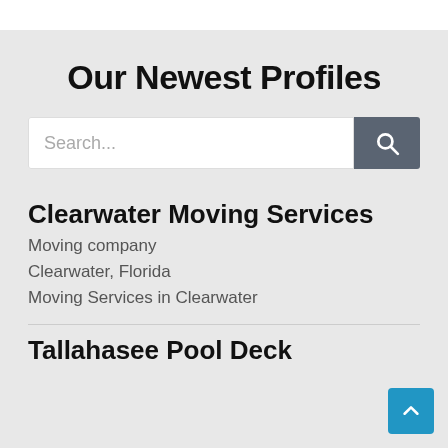Our Newest Profiles
Search...
Clearwater Moving Services
Moving company
Clearwater, Florida
Moving Services in Clearwater
Tallahasee Pool Deck